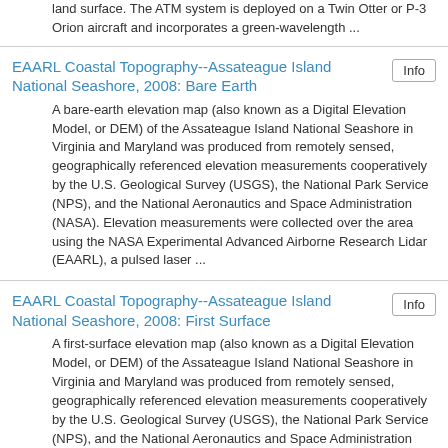land surface. The ATM system is deployed on a Twin Otter or P-3 Orion aircraft and incorporates a green-wavelength ...
EAARL Coastal Topography--Assateague Island National Seashore, 2008: Bare Earth
A bare-earth elevation map (also known as a Digital Elevation Model, or DEM) of the Assateague Island National Seashore in Virginia and Maryland was produced from remotely sensed, geographically referenced elevation measurements cooperatively by the U.S. Geological Survey (USGS), the National Park Service (NPS), and the National Aeronautics and Space Administration (NASA). Elevation measurements were collected over the area using the NASA Experimental Advanced Airborne Research Lidar (EAARL), a pulsed laser ...
EAARL Coastal Topography--Assateague Island National Seashore, 2008: First Surface
A first-surface elevation map (also known as a Digital Elevation Model, or DEM) of the Assateague Island National Seashore in Virginia and Maryland was produced from remotely sensed, geographically referenced elevation measurements cooperatively by the U.S. Geological Survey (USGS), the National Park Service (NPS), and the National Aeronautics and Space Administration (NASA). Elevation measurements were collected over the area using the NASA Experimental